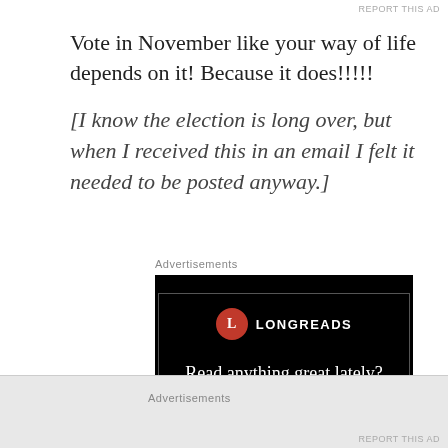REPORT THIS AD
Vote in November like your way of life depends on it! Because it does!!!!!
[I know the election is long over, but when I received this in an email I felt it needed to be posted anyway.]
Advertisements
[Figure (screenshot): Longreads advertisement banner with black background, red circle L logo, text 'Read anything great lately?']
Advertisements
REPORT THIS AD